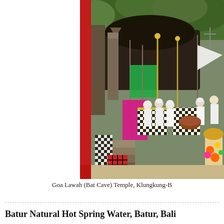[Figure (photo): A Hindu temple ceremony at Goa Lawah (Bat Cave) Temple in Klungkung, Bali. Worshippers dressed in white are gathered around temple altars decorated with black-and-white checkered cloth (poleng) and yellow fabric. There are colorful flags (green, pink/red, white), golden ceremonial staffs, stone steps, and lush green foliage overhanging the cave entrance. A red pillar or pole is prominent on the left side.]
Goa Lawah (Bat Cave) Temple, Klungkung-B
Batur Natural Hot Spring Water, Batur, Bali